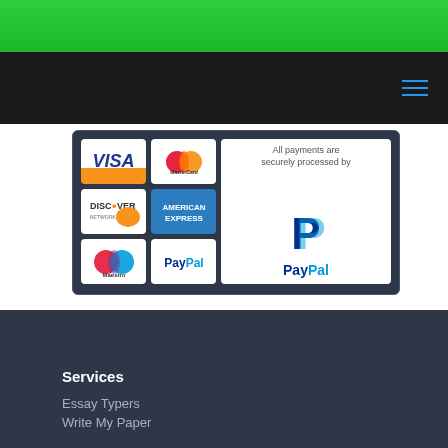[Figure (screenshot): Website screenshot showing a green top bar, black navigation bar with hamburger menu icon, a payment methods banner showing VISA, MasterCard, Discover, American Express, Maestro, PayPal logos with text 'All payments are securely processed by PayPal', and a dark footer with Services section]
Services
Essay Typers
Write My Paper